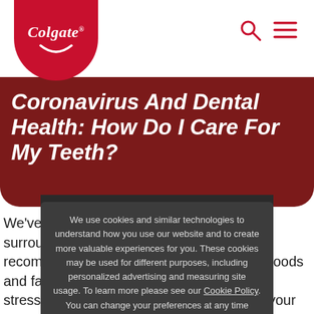[Figure (logo): Colgate logo — white italic text on red circle with smile arc]
Coronavirus And Dental Health: How Do I Care For My Teeth?
We've all been monitoring the latest news surrounding COVID-19, including recommendations for our cities, neighbourhoods and families. We understand this can be a stressful time. You may not be able to visit your dentist for routine cleanings, fillings, and crowns, or you might be concerned about seeking help for a dental emergency. To help clear up confusion and make sure you are...
We use cookies and similar technologies to understand how you use our website and to create more valuable experiences for you. These cookies may be used for different purposes, including personalized advertising and measuring site usage. To learn more please see our Cookie Policy. You can change your preferences at any time through our Cookie preferences tool.